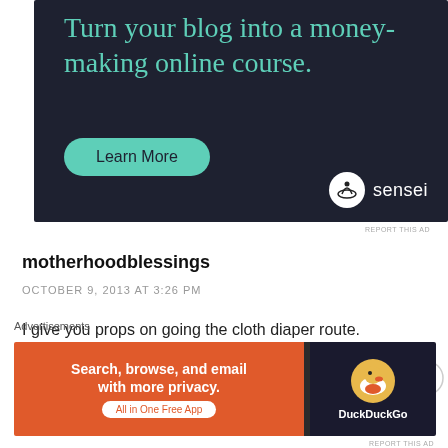[Figure (screenshot): Sensei advertisement banner with dark background, teal heading 'Turn your blog into a money-making online course.' and a teal 'Learn More' button, with sensei logo at bottom right.]
REPORT THIS AD
motherhoodblessings
OCTOBER 9, 2013 AT 3:26 PM
I give you props on going the cloth diaper route. Diapers are expensive, but I feel like I am too
Advertisements
[Figure (screenshot): DuckDuckGo advertisement: orange section with text 'Search, browse, and email with more privacy. All in One Free App' and dark section with DuckDuckGo logo and duck icon.]
REPORT THIS AD